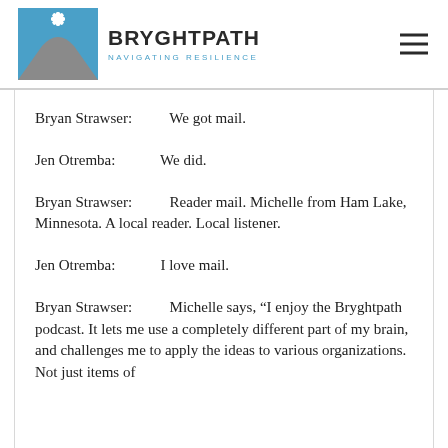[Figure (logo): Bryghtpath logo: blue and grey road/sunrise icon with text BRYGHTPATH and tagline NAVIGATING RESILIENCE]
Bryan Strawser: We got mail.
Jen Otremba: We did.
Bryan Strawser: Reader mail. Michelle from Ham Lake, Minnesota. A local reader. Local listener.
Jen Otremba: I love mail.
Bryan Strawser: Michelle says, “I enjoy the Bryghtpath podcast. It lets me use a completely different part of my brain, and challenges me to apply the ideas to various organizations. Not just items of